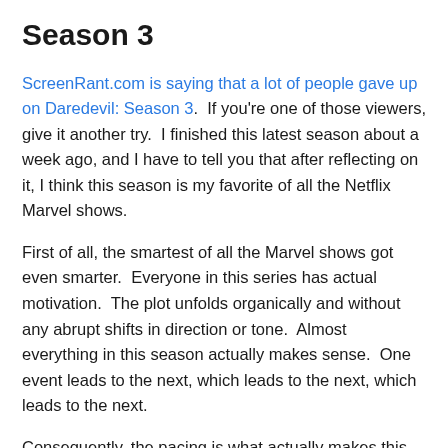Season 3
ScreenRant.com is saying that a lot of people gave up on Daredevil: Season 3.  If you're one of those viewers, give it another try.  I finished this latest season about a week ago, and I have to tell you that after reflecting on it, I think this season is my favorite of all the Netflix Marvel shows.
First of all, the smartest of all the Marvel shows got even smarter.  Everyone in this series has actual motivation.  The plot unfolds organically and without any abrupt shifts in direction or tone.  Almost everything in this season actually makes sense.  One event leads to the next, which leads to the next, which leads to the next.
Consequently, the pacing is what actually makes this season my favorite.  The Netflix Marvel shows have had disappo...